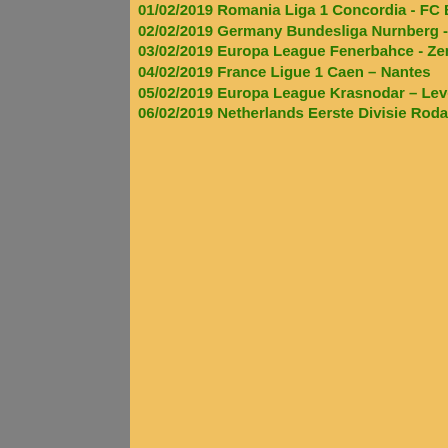01/02/2019 Romania Liga 1 Concordia - FC Boto...
02/02/2019 Germany Bundesliga Nurnberg - Werde...
03/02/2019 Europa League Fenerbahce - Zenit Pete...
04/02/2019 France Ligue 1 Caen – Nantes
05/02/2019 Europa League Krasnodar – Leverkusen...
06/02/2019 Netherlands Eerste Divisie Roda – Cam...